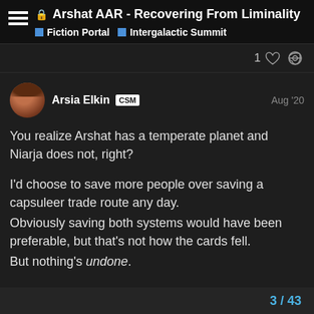Arshat AAR - Recovering From Liminality | Fiction Portal | Intergalactic Summit
1
Arsia Elkin CSM Aug '20
You realize Arshat has a temperate planet and Niarja does not, right?

I'd choose to save more people over saving a capsuleer trade route any day.
Obviously saving both systems would have been preferable, but that's not how the cards fell.
But nothing's undone.

But by all means, continue with your pr
3 / 43